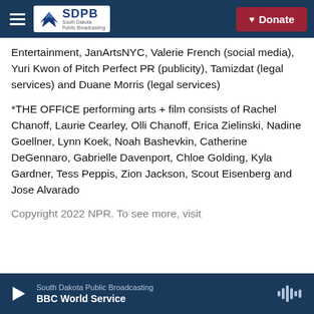SDPB South Dakota Public Broadcasting — Donate
Entertainment, JanArtsNYC, Valerie French (social media), Yuri Kwon of Pitch Perfect PR (publicity), Tamizdat (legal services) and Duane Morris (legal services)
*THE OFFICE performing arts + film consists of Rachel Chanoff, Laurie Cearley, Olli Chanoff, Erica Zielinski, Nadine Goellner, Lynn Koek, Noah Bashevkin, Catherine DeGennaro, Gabrielle Davenport, Chloe Golding, Kyla Gardner, Tess Peppis, Zion Jackson, Scout Eisenberg and Jose Alvarado
Copyright 2022 NPR. To see more, visit
South Dakota Public Broadcasting — BBC World Service